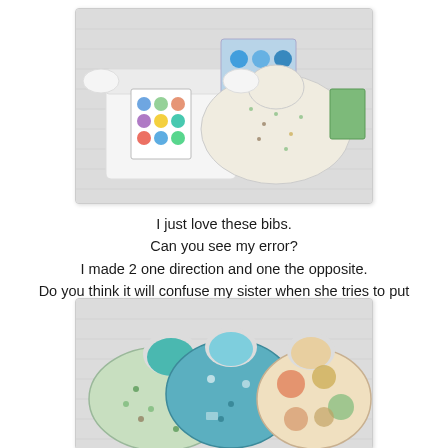[Figure (photo): Baby onesie and bibs with colorful patterned fabric laid flat on a white quilted surface. One bib has a small print pattern with trees and dots, another shows colorful circle stickers on the onesie. A book or fabric square with circle designs is visible in the background.]
I just love these bibs.
Can you see my error?
I made 2 one direction and one the opposite.
Do you think it will confuse my sister when she tries to put one on? LOL
[Figure (photo): Three baby bibs laid flat on a white quilted surface. Left bib has green tree/dot small print fabric with teal lining. Middle bib is teal/blue with a camping/nature scene print. Right bib has a beige/cream background with large colorful circle dots.]